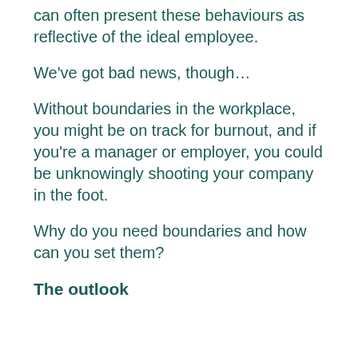can often present these behaviours as reflective of the ideal employee.
We've got bad news, though…
Without boundaries in the workplace, you might be on track for burnout, and if you're a manager or employer, you could be unknowingly shooting your company in the foot.
Why do you need boundaries and how can you set them?
The outlook